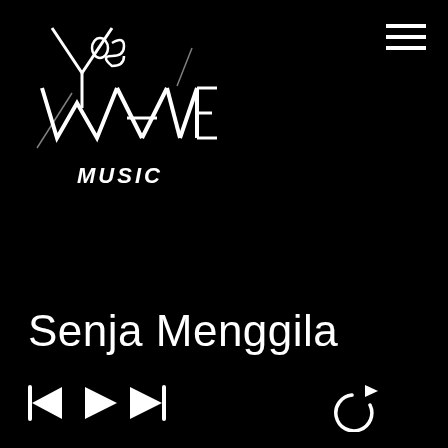[Figure (logo): YosWave Music logo - stylized white text/lettering on black background, angular punk/metal style typography]
[Figure (other): Hamburger menu icon - three white horizontal lines in upper right corner]
Senja Menggila
[Figure (other): Music player controls: previous track, play, next track buttons on left; repeat/loop icon on right]